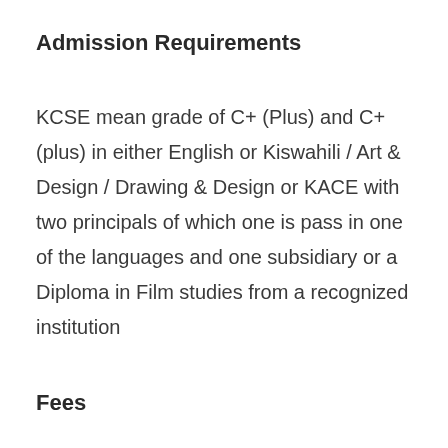Admission Requirements
KCSE mean grade of C+ (Plus) and C+ (plus) in either English or Kiswahili / Art & Design / Drawing & Design or KACE with two principals of which one is pass in one of the languages and one subsidiary or a Diploma in Film studies from a recognized institution
Fees